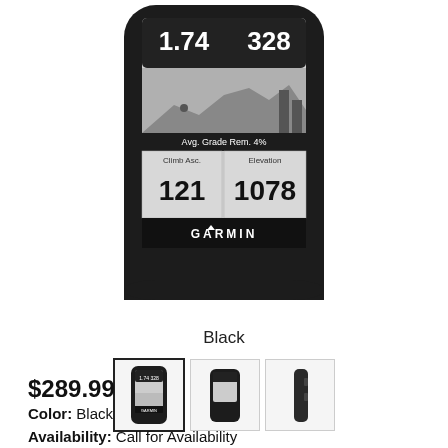[Figure (photo): Garmin Edge 130 GPS cycling computer device showing screen with values 1.74, 328, Avg. Grade Rem. 4%, Climb Asc. 121, Elevation 1078]
Black
[Figure (photo): Three product thumbnail images of the Garmin cycling computer — front view (selected), front small view, and side view]
$289.99
Color: Black
Availability: Call for Availability